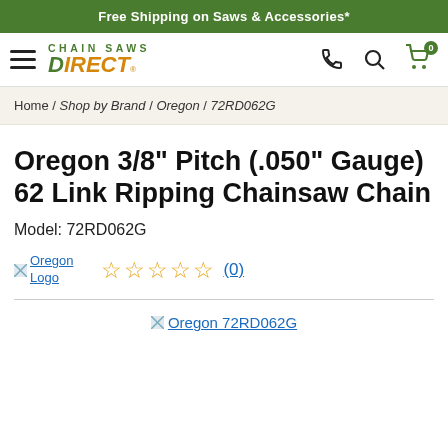Free Shipping on Saws & Accessories*
[Figure (logo): Chain Saws Direct logo with hamburger menu, phone, search, and cart icons]
Home / Shop by Brand / Oregon / 72RD062G
Oregon 3/8" Pitch (.050" Gauge) 62 Link Ripping Chainsaw Chain
Model: 72RD062G
[Figure (logo): Oregon Logo brand image alongside 5 empty star rating (0) reviews]
[Figure (photo): Oregon 72RD062G product image placeholder]